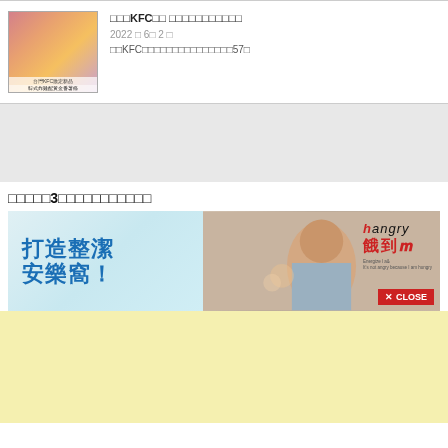[Figure (photo): Thumbnail image of Korean fried chicken dish with text overlay]
□□□KFC□□ □□□□□□□□□□□
2022 □ 6□ 2 □
□□KFC□□□□□□□□□□□□□□□57□
□□□□□3□□□□□□□□□□□
[Figure (photo): Advertisement banner with Chinese text '打造整潔安樂窩！' on left side in blue, and hangry brand logo on right side with woman photo in middle. Close button at bottom right.]